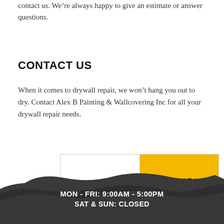contact us. We’re always happy to give an estimate or answer questions.
CONTACT US
When it comes to drywall repair, we won’t hang you out to dry. Contact Alex B Painting & Wallcovering Inc for all your drywall repair needs.
[Figure (infographic): Two-button call-to-action panel: left white button reading CALL US, right yellow button reading CONTACT US ONLINE TODAY]
[Figure (infographic): Dark brushstroke banner at bottom with white text showing business hours: MON - FRI: 9:00AM - 5:00PM and SAT & SUN: CLOSED]